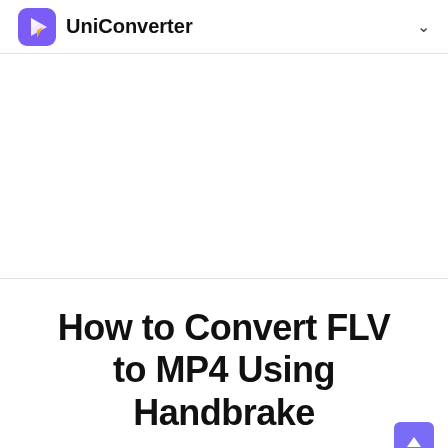UniConverter
[Figure (other): Advertisement or blank content area]
How to Convert FLV to MP4 Using Handbrake